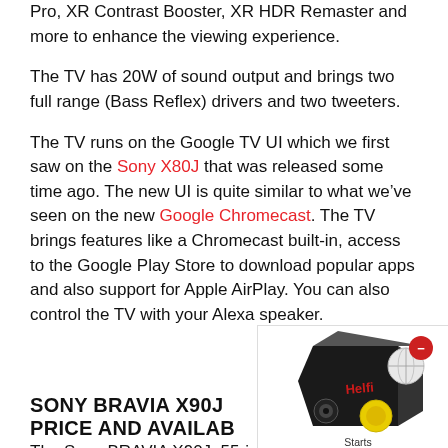Pro, XR Contrast Booster, XR HDR Remaster and more to enhance the viewing experience.
The TV has 20W of sound output and brings two full range (Bass Reflex) drivers and two tweeters.
The TV runs on the Google TV UI which we first saw on the Sony X80J that was released some time ago. The new UI is quite similar to what we’ve seen on the new Google Chromecast. The TV brings features like a Chromecast built-in, access to the Google Play Store to download popular apps and also support for Apple AirPlay. You can also control the TV with your Alexa speaker.
[Figure (other): Advertisement overlay showing a product box with text: Starts at ₹ 24999*, Exclusive pre-book offer. Get Galaxy Buds2 at ₹ 2999. Has a red close button and a dismiss button.]
SONY BRAVIA X90J PRICE AND AVAILABILITY
The Sony BRAVIA X90J, 55-inch variant is priced at Rs 1,39,990. it will be available starting today, June 10, 2021. The 65 and 75-inch variants are expected to be available soon.